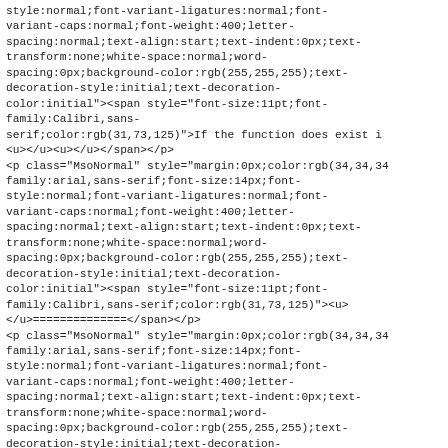style:normal;font-variant-ligatures:normal;font-variant-caps:normal;font-weight:400;letter-spacing:normal;text-align:start;text-indent:0px;text-transform:none;white-space:normal;word-spacing:0px;background-color:rgb(255,255,255);text-decoration-style:initial;text-decoration-color:initial"><span style="font-size:11pt;font-family:Calibri,sans-serif;color:rgb(31,73,125)">If the function does exist i
<u></u><u></u></span></p>
<p class="MsoNormal" style="margin:0px;color:rgb(34,34,34);font-family:arial,sans-serif;font-size:14px;font-style:normal;font-variant-ligatures:normal;font-variant-caps:normal;font-weight:400;letter-spacing:normal;text-align:start;text-indent:0px;text-transform:none;white-space:normal;word-spacing:0px;background-color:rgb(255,255,255);text-decoration-style:initial;text-decoration-color:initial"><span style="font-size:11pt;font-family:Calibri,sans-serif;color:rgb(31,73,125)"><u>
</u>==============</span></p>
<p class="MsoNormal" style="margin:0px;color:rgb(34,34,34);font-family:arial,sans-serif;font-size:14px;font-style:normal;font-variant-ligatures:normal;font-variant-caps:normal;font-weight:400;letter-spacing:normal;text-align:start;text-indent:0px;text-transform:none;white-space:normal;word-spacing:0px;background-color:rgb(255,255,255);text-decoration-style:initial;text-decoration-color:initial"><span style="font-size:11pt;font-